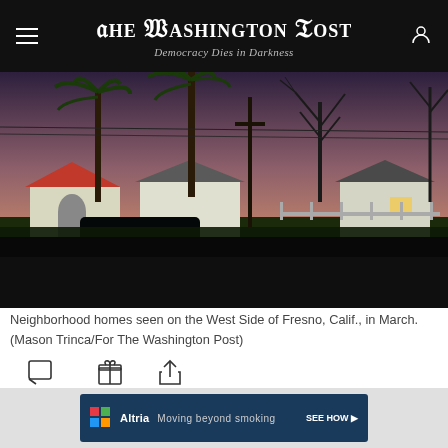The Washington Post — Democracy Dies in Darkness
[Figure (photo): Neighborhood homes at dusk on the West Side of Fresno, California. Dark silhouettes of palm trees and bare trees against a dusky purple-pink sky. White houses visible in the background.]
Neighborhood homes seen on the West Side of Fresno, Calif., in March. (Mason Trinca/For The Washington Post)
FRESNO, Calif. — The West Side loses, often.
[Figure (other): Altria advertisement — Moving beyond smoking — SEE HOW]